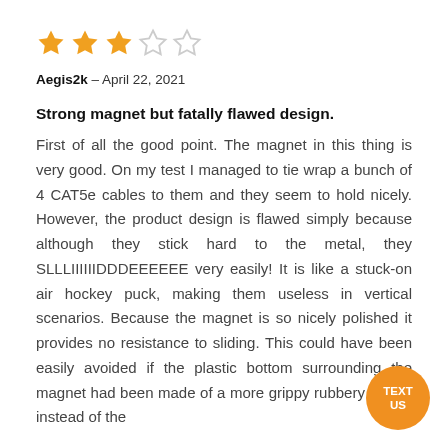[Figure (other): 3 out of 5 star rating shown as orange filled and empty stars]
Aegis2k – April 22, 2021
Strong magnet but fatally flawed design.
First of all the good point. The magnet in this thing is very good. On my test I managed to tie wrap a bunch of 4 CAT5e cables to them and they seem to hold nicely. However, the product design is flawed simply because although they stick hard to the metal, they SLLLIIIIIIDDDEEEEEE very easily! It is like a stuck-on air hockey puck, making them useless in vertical scenarios. Because the magnet is so nicely polished it provides no resistance to sliding. This could have been easily avoided if the plastic bottom surrounding the magnet had been made of a more grippy rubbery plastic instead of the
[Figure (other): Orange circular button with text TEXT US]